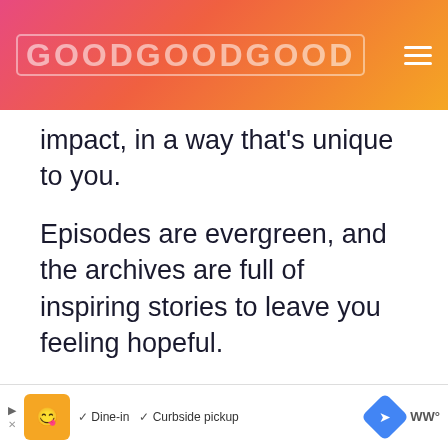GOODGOODGOOD
impact, in a way that's unique to you.
Episodes are evergreen, and the archives are full of inspiring stories to leave you feeling hopeful.
Squirrel News
[Figure (screenshot): Squirrel News section with a teal-to-purple gradient image area and a 'WHAT'S NEXT' sidebar widget showing 'The Top 12 Good News...']
[Figure (other): Advertisement bar at bottom showing a restaurant ad with 'Dine-in' and 'Curbside pickup' options, map icon, and WW logo]